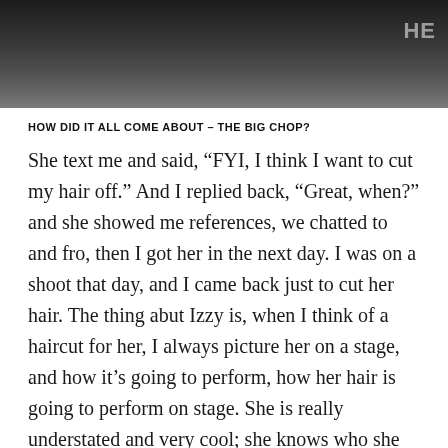[Figure (photo): Black and white photograph strip at the top of the page, dark tones with a partial view of a person or scene]
HOW DID IT ALL COME ABOUT – THE BIG CHOP?
She text me and said, “FYI, I think I want to cut my hair off.” And I replied back, “Great, when?” and she showed me references, we chatted to and fro, then I got her in the next day. I was on a shoot that day, and I came back just to cut her hair. The thing abut Izzy is, when I think of a haircut for her, I always picture her on a stage, and how it’s going to perform, how her hair is going to perform on stage. She is really understated and very cool; she knows who she is, she doesn’t need to prove anything, so her hair needs to be the same,